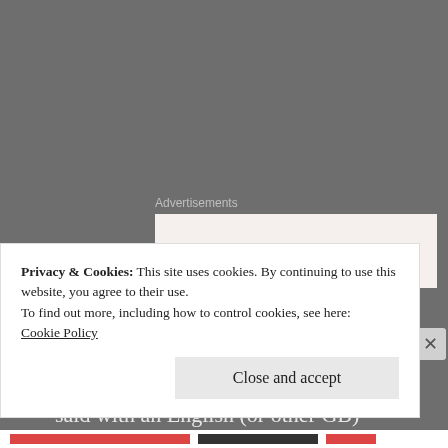Advertisements
[Figure (other): Partial advertisement banner showing text 'Business in' on a light background]
-I really try not to take life too seriously.
-I think everything sounds better when said with an English (or other GB) accent.
Privacy & Cookies: This site uses cookies. By continuing to use this website, you agree to their use.
To find out more, including how to control cookies, see here:
Cookie Policy
Close and accept